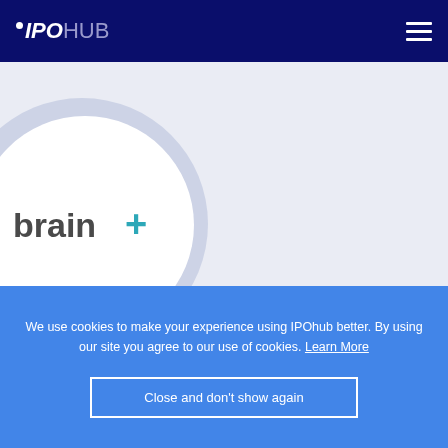IPOHUB
[Figure (logo): brain+ company logo inside a white circle on a light blue-gray background]
We use cookies to make your experience using IPOhub better. By using our site you agree to our use of cookies. Learn More
Close and don't show again